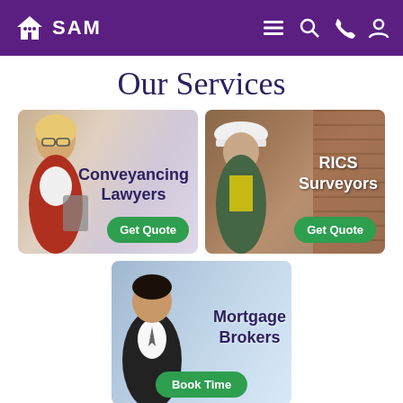SAM - Navigation header with logo, menu, search, phone, and account icons
Our Services
[Figure (photo): Service card: Conveyancing Lawyers with woman in red jacket, Get Quote button]
[Figure (photo): Service card: RICS Surveyors with man in hard hat, Get Quote button]
[Figure (photo): Service card: Mortgage Brokers with young man in suit, Book Time button]
Read our Cookie Policy. We hope you enjoy our website.
OK